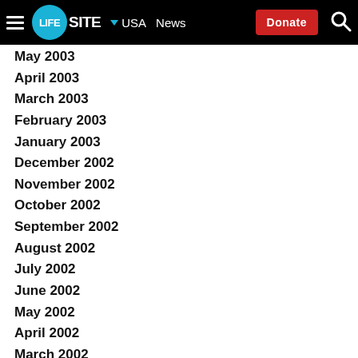LifeSite - USA - News - Donate
May 2003
April 2003
March 2003
February 2003
January 2003
December 2002
November 2002
October 2002
September 2002
August 2002
July 2002
June 2002
May 2002
April 2002
March 2002
February 2002
January 2002